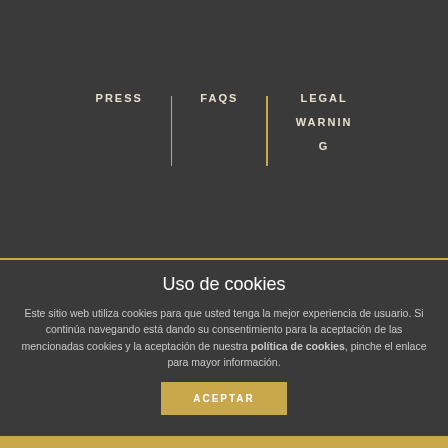PRESS
FAQS
LEGAL WARNING
Uso de cookies
Este sitio web utiliza cookies para que usted tenga la mejor experiencia de usuario. Si continúa navegando está dando su consentimiento para la aceptación de las mencionadas cookies y la aceptación de nuestra política de cookies, pinche el enlace para mayor información.
ACEPTAR